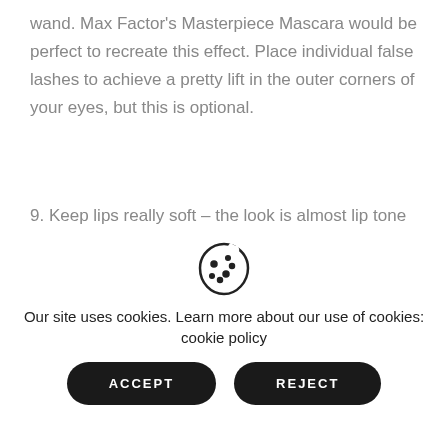wand. Max Factor's Masterpiece Mascara would be perfect to recreate this effect. Place individual false lashes to achieve a pretty lift in the outer corners of your eyes, but this is optional.
9. Keep lips really soft – the look is almost lip tone like. Laura Mercier's Lip Tint in Shy Girl can create a barely-there natural finish.
2. Lauren Conrad Bare-Faced Chic Look
Our site uses cookies. Learn more about our use of cookies: cookie policy